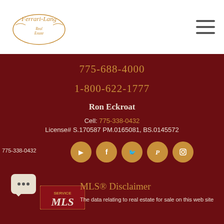[Figure (logo): Ferrari-Lang Real Estate logo in gold/tan cursive on white background]
775-688-4000
1-800-622-1777
Ron Eckroat
Cell: 775-338-0432
License# S.170587 PM.0165081, BS.0145572
[Figure (infographic): Social media icon buttons: YouTube, Facebook, Twitter, Pinterest, Instagram — gold circles on dark red background]
775-338-0432
MLS® Disclaimer
The data relating to real estate for sale on this web site